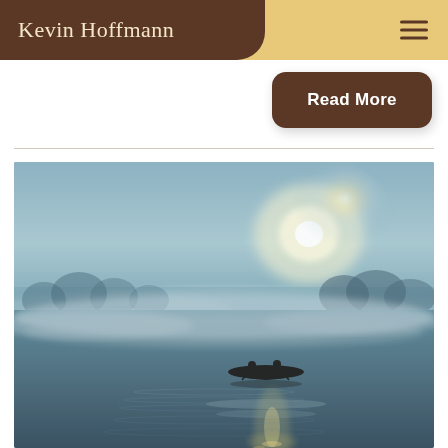Kevin Hoffmann
Read More
[Figure (photo): Two people paddling a canoe on a misty lake at sunrise, with sunlight reflecting off the calm water and trees silhouetted in the foggy background.]